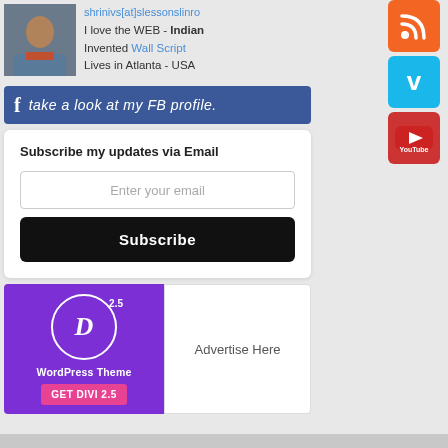I love the WEB - Indian
Invented Wall Script
Lives in Atlanta - USA
[Figure (screenshot): Facebook profile banner - blue background with 'take a look at my FB profile.' text]
Subscribe my updates via Email
Enter your email
Subscribe
[Figure (illustration): Divi 2.5 WordPress Theme advertisement - purple background with D logo circle and GET DIVI 2.5 button]
Advertise Here
[Figure (logo): RSS feed icon - orange square with RSS symbol]
[Figure (logo): Vimeo icon - blue square with V symbol]
[Figure (logo): YouTube icon - red square with YouTube logo]